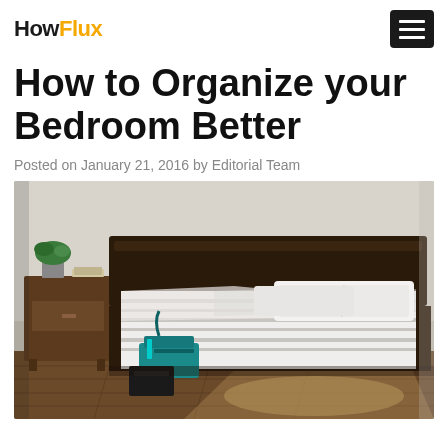HowFlux
How to Organize your Bedroom Better
Posted on January 21, 2016 by Editorial Team
[Figure (photo): A bedroom with a low-profile dark wooden bed frame with rumpled white and grey striped bedding and pillows, a dark wooden nightstand with a small plant and book on top, and a teal colored bag on the floor beside the bed. Natural light comes through from the right side. Hardwood floor visible in foreground.]